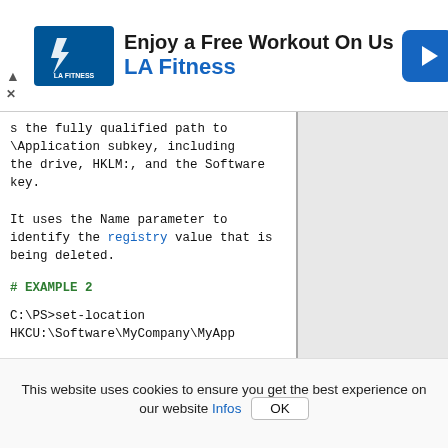[Figure (screenshot): LA Fitness advertisement banner with logo, headline 'Enjoy a Free Workout On Us', subheadline 'LA Fitness', and a blue directional arrow icon.]
s the fully qualified path to \Application subkey, including the drive, HKLM:, and the Software key.

It uses the Name parameter to identify the registry value that is being deleted.
# EXAMPLE 2
C:\PS>set-location
HKCU:\Software\MyCompany\MyApp

PS HKCU:\Software\MyCompany\MyApp>
remove-itemproperty -path . -Name Options -confirm
# Description
------------
These commands delete the Options registry value, and its data, from
This website uses cookies to ensure you get the best experience on our website Infos OK